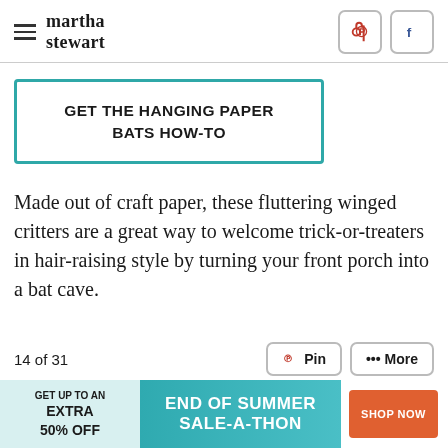martha stewart
GET THE HANGING PAPER BATS HOW-TO
Made out of craft paper, these fluttering winged critters are a great way to welcome trick-or-treaters in hair-raising style by turning your front porch into a bat cave.
14 of 31
[Figure (other): Advertisement banner: GET UP TO AN EXTRA 50% OFF — END OF SUMMER SALE-A-THON — SHOP NOW button]